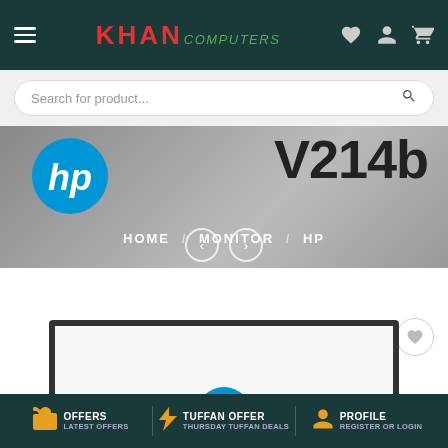[Figure (screenshot): Khan Computers website header with navigation, search bar, HP V214b monitor banner, breadcrumb HOME / MONITOR / HP, product image area with wishlist button, and bottom navigation bar with OFFERS, TUFFAN OFFER, PROFILE sections.]